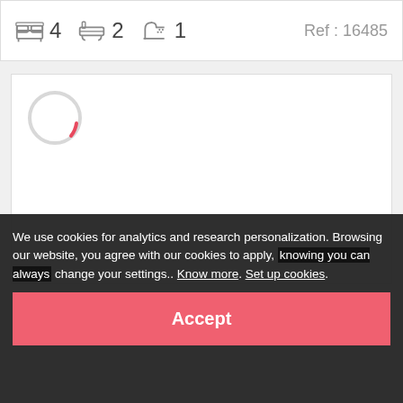4  2  1  Ref : 16485
[Figure (other): Loading spinner — a large light gray circle with a small red arc at the bottom-right, indicating a page or image is still loading]
We use cookies for analytics and research personalization. Browsing our website, you agree with our cookies to apply, knowing you can always change your settings.. Know more. Set up cookies.
Accept
From 140€/night · nights minimum stay From 980€ To 2 130€/week